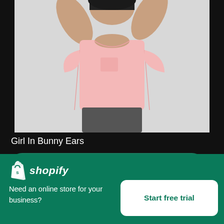[Figure (photo): Photo of a girl in a pink t-shirt with arms raised, against a light grey background. Only the body/torso area is visible, cropped at top.]
Girl In Bunny Ears
High resolution download ↓
[Figure (screenshot): Shopify advertisement panel with Shopify logo, tagline 'Need an online store for your business?' and a 'Start free trial' button. A close (×) button is visible in the top right corner of the overlay.]